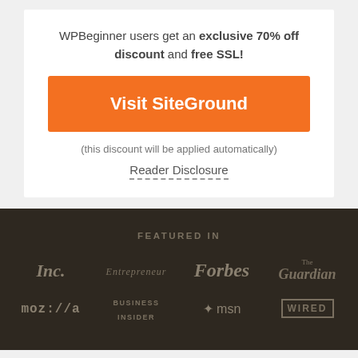WPBeginner users get an exclusive 70% off discount and free SSL!
Visit SiteGround
(this discount will be applied automatically)
Reader Disclosure
FEATURED IN
[Figure (logo): Inc. logo]
[Figure (logo): Entrepreneur logo]
[Figure (logo): Forbes logo]
[Figure (logo): The Guardian logo]
[Figure (logo): moz://a logo]
[Figure (logo): Business Insider logo]
[Figure (logo): MSN logo]
[Figure (logo): WIRED logo]